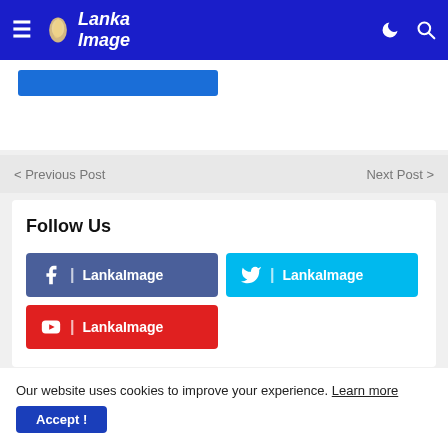Lanka Image
< Previous Post
Next Post >
Follow Us
LankaImage (Facebook)
LankaImage (Twitter)
LankaImage (YouTube)
Our website uses cookies to improve your experience. Learn more
Accept !